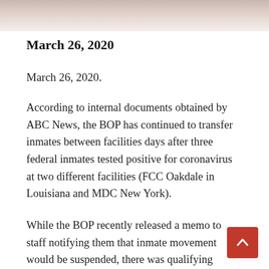[Figure (photo): Faded photographic image at the top of the page, appears to show a scene related to the article content.]
March 26, 2020
March 26, 2020.
According to internal documents obtained by ABC News, the BOP has continued to transfer inmates between facilities days after three federal inmates tested positive for coronavirus at two different facilities (FCC Oakdale in Louisiana and MDC New York).
While the BOP recently released a memo to staff notifying them that inmate movement would be suspended, there was qualifying language reserving